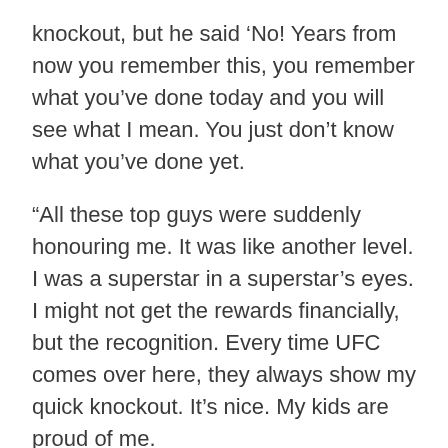knockout, but he said ‘No! Years from now you remember this, you remember what you’ve done today and you will see what I mean. You just don’t know what you’ve done yet.
“All these top guys were suddenly honouring me. It was like another level. I was a superstar in a superstar’s eyes. I might not get the rewards financially, but the recognition. Every time UFC comes over here, they always show my quick knockout. It’s nice. My kids are proud of me.
“Twenty years on and I’m still being spoken about. People look me up and realise, ‘wow, he was a pioneer, look what he did. He made